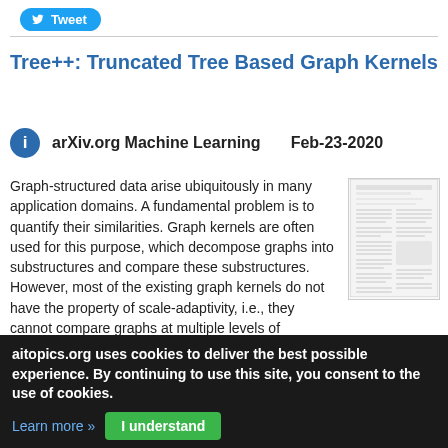[Figure (other): Tweet button (Twitter share button, blue rounded pill with bird icon and 'Tweet' text)]
Tree++: Truncated Tree Based Graph Kernels
arXiv.org Machine Learning    Feb-23-2020
Graph-structured data arise ubiquitously in many application domains. A fundamental problem is to quantify their similarities. Graph kernels are often used for this purpose, which decompose graphs into substructures and compare these substructures. However, most of the existing graph kernels do not have the property of scale-adaptivity, i.e., they cannot compare graphs at multiple levels of granularities. Many real-world graphs such as molecules exhibit structure at varying
[Figure (screenshot): Thumbnail preview of the paper PDF showing a multi-column academic paper layout]
aitopics.org uses cookies to deliver the best possible experience. By continuing to use this site, you consent to the use of cookies.
Learn more »
I understand